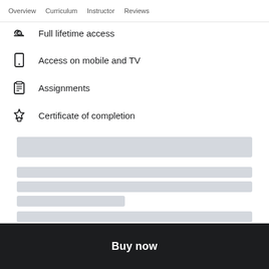Overview  Curriculum  Instructor  Reviews
Full lifetime access
Access on mobile and TV
Assignments
Certificate of completion
[Figure (other): Loading skeleton placeholder bars representing course content sections]
Buy now